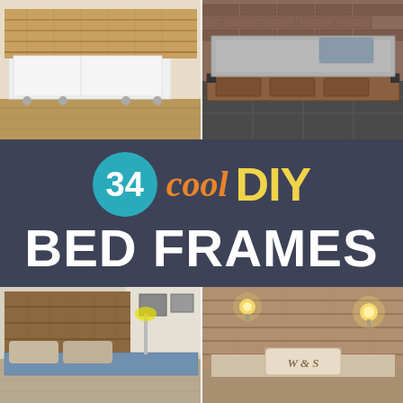[Figure (photo): Modern DIY bed frame with wooden slat headboard and white storage base on a wooden floor]
[Figure (photo): DIY wooden platform bed with storage drawers on a dark tile floor in a bedroom]
[Figure (infographic): Banner reading '34 cool DIY BED FRAMES' with teal circle, orange script 'cool', yellow bold 'DIY', and large white bold 'BED FRAMES' on dark charcoal background]
[Figure (photo): Rustic DIY wooden bed frame with reclaimed wood headboard in a cozy bedroom]
[Figure (photo): DIY pallet wood headboard with light bulb sconce and decorative pillow with 'W & S' monogram]